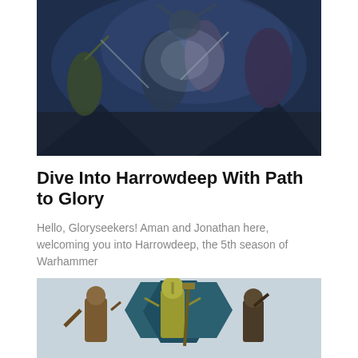[Figure (illustration): Fantasy battle scene with armored warriors and creatures fighting in a dark, moody blue-toned environment]
Dive Into Harrowdeep With Path to Glory
Hello, Gloryseekers! Aman and Jonathan here, welcoming you into Harrowdeep, the 5th season of Warhammer
Read More
[Figure (photo): Warhammer miniatures painted figures standing in front of teal/blue hexagonal display boards]